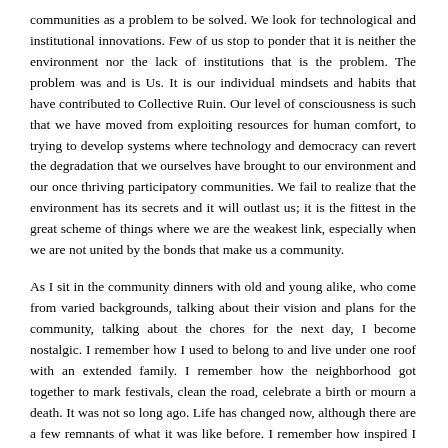communities as a problem to be solved. We look for technological and institutional innovations. Few of us stop to ponder that it is neither the environment nor the lack of institutions that is the problem. The problem was and is Us. It is our individual mindsets and habits that have contributed to Collective Ruin. Our level of consciousness is such that we have moved from exploiting resources for human comfort, to trying to develop systems where technology and democracy can revert the degradation that we ourselves have brought to our environment and our once thriving participatory communities. We fail to realize that the environment has its secrets and it will outlast us; it is the fittest in the great scheme of things where we are the weakest link, especially when we are not united by the bonds that make us a community.
As I sit in the community dinners with old and young alike, who come from varied backgrounds, talking about their vision and plans for the community, talking about the chores for the next day, I become nostalgic. I remember how I used to belong to and live under one roof with an extended family. I remember how the neighborhood got together to mark festivals, clean the road, celebrate a birth or mourn a death. It was not so long ago. Life has changed now, although there are a few remnants of what it was like before. I remember how inspired I was working in small communities when people came